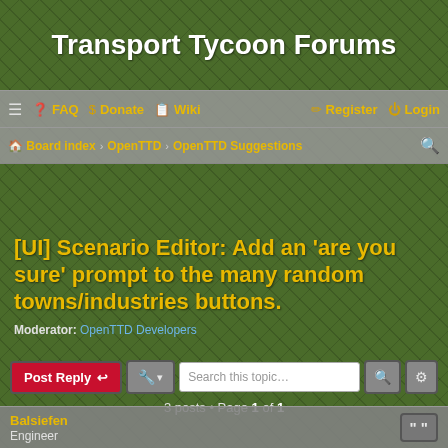Transport Tycoon Forums
☰  ❓ FAQ  $ Donate  📋 Wiki    ✏ Register  ⏻ Login
🏠 Board index › OpenTTD › OpenTTD Suggestions
[UI] Scenario Editor: Add an 'are you sure' prompt to the many random towns/industries buttons.
Moderator: OpenTTD Developers
Post Reply  🔧 ▾  Search this topic…  🔍  ⚙
3 posts • Page 1 of 1
Balsiefen
Engineer